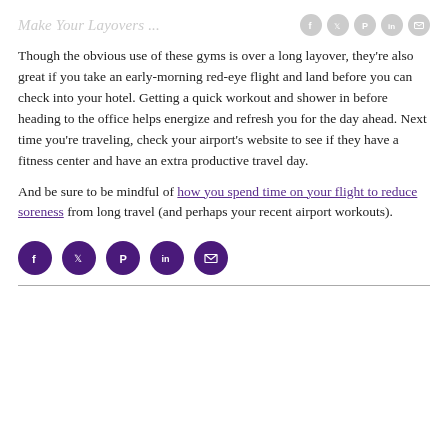Make Your Layovers ...
Though the obvious use of these gyms is over a long layover, they're also great if you take an early-morning red-eye flight and land before you can check into your hotel. Getting a quick workout and shower in before heading to the office helps energize and refresh you for the day ahead. Next time you're traveling, check your airport's website to see if they have a fitness center and have an extra productive travel day.
And be sure to be mindful of how you spend time on your flight to reduce soreness from long travel (and perhaps your recent airport workouts).